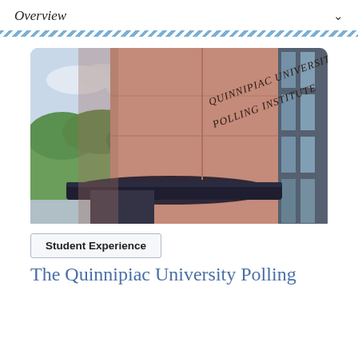Overview
[Figure (photo): Exterior photo of the Quinnipiac University Polling Institute building, showing engraved stone sign reading 'Quinnipiac University Polling Institute', with glass windows and trees visible in background.]
Student Experience
The Quinnipiac University Polling Institute